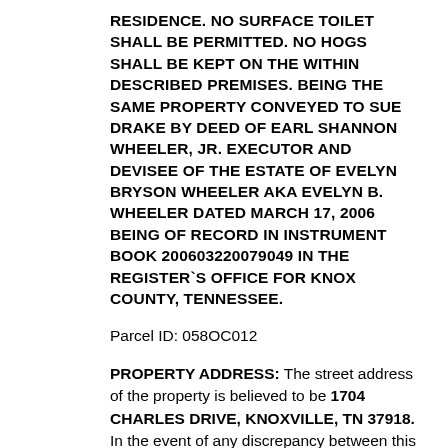RESIDENCE. NO SURFACE TOILET SHALL BE PERMITTED. NO HOGS SHALL BE KEPT ON THE WITHIN DESCRIBED PREMISES. BEING THE SAME PROPERTY CONVEYED TO SUE DRAKE BY DEED OF EARL SHANNON WHEELER, JR. EXECUTOR AND DEVISEE OF THE ESTATE OF EVELYN BRYSON WHEELER AKA EVELYN B. WHEELER DATED MARCH 17, 2006 BEING OF RECORD IN INSTRUMENT BOOK 200603220079049 IN THE REGISTER`S OFFICE FOR KNOX COUNTY, TENNESSEE.
Parcel ID: 058OC012
PROPERTY ADDRESS: The street address of the property is believed to be 1704 CHARLES DRIVE, KNOXVILLE, TN 37918. In the event of any discrepancy between this street address and the legal description of the property, the legal description shall control.